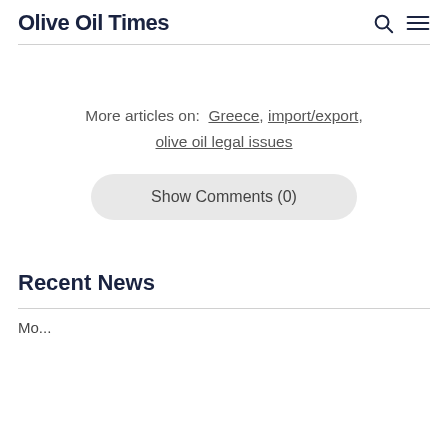Olive Oil Times
More articles on:  Greece, import/export, olive oil legal issues
Show Comments (0)
Recent News